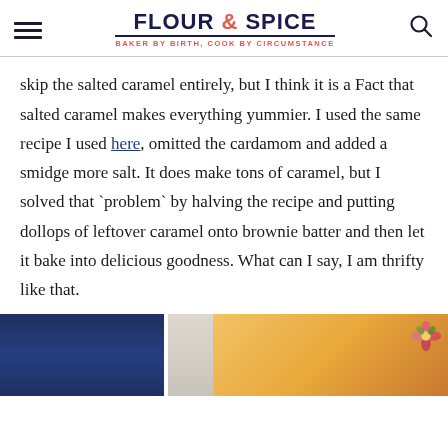FLOUR & SPICE — BAKER BY BIRTH, COOK BY CIRCUMSTANCE
skip the salted caramel entirely, but I think it is a Fact that salted caramel makes everything yummier. I used the same recipe I used here, omitted the cardamom and added a smidge more salt. It does make tons of caramel, but I solved that `problem` by halving the recipe and putting dollops of leftover caramel onto brownie batter and then let it bake into delicious goodness. What can I say, I am thrifty like that.
[Figure (photo): Partial photo at the bottom of the page showing a dark blue patterned background on the left and an orange/golden dessert item on the right with floral decoration.]